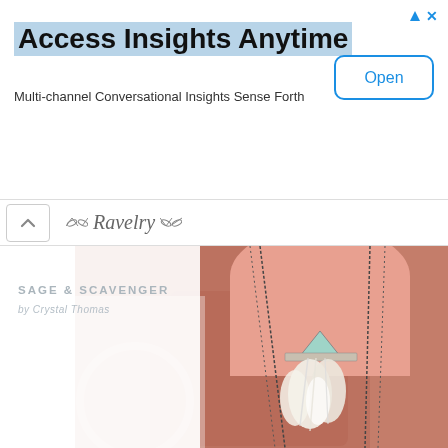Access Insights Anytime
Multi-channel Conversational Insights Sense Forth
[Figure (screenshot): Ad banner with 'Open' button, Ravelry logo bar, and a jewelry product photo showing 'SAGE & SCAVENGER by Crystal Thomas' necklaces with feather pendants hanging on a terracotta/salmon colored dress form.]